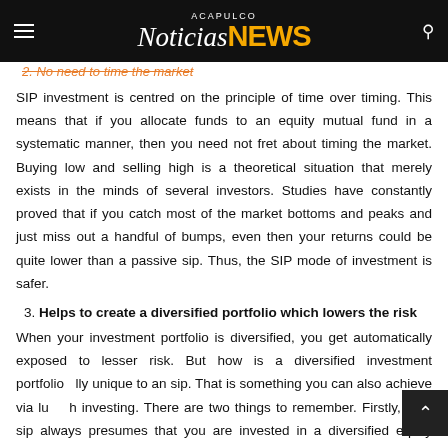ACAPULCO Noticias NEWS
2. No need to time the market
SIP investment is centred on the principle of time over timing. This means that if you allocate funds to an equity mutual fund in a systematic manner, then you need not fret about timing the market. Buying low and selling high is a theoretical situation that merely exists in the minds of several investors. Studies have constantly proved that if you catch most of the market bottoms and peaks and just miss out a handful of bumps, even then your returns could be quite lower than a passive sip. Thus, the SIP mode of investment is safer.
3. Helps to create a diversified portfolio which lowers the risk
When your investment portfolio is diversified, you get automatically exposed to lesser risk. But how is a diversified investment portfolio really unique to an sip. That is something you can also achieve via lump sum investing. There are two things to remember. Firstly, your sip always presumes that you are invested in a diversified equity fund. Secondly,